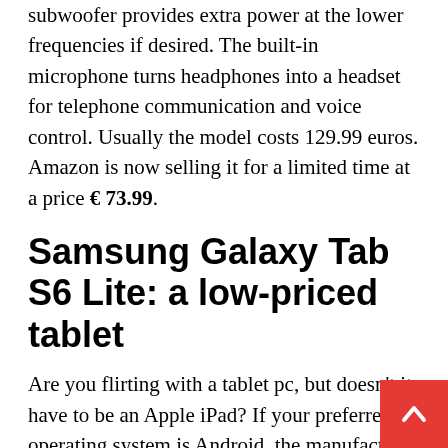subwoofer provides extra power at the lower frequencies if desired. The built-in microphone turns headphones into a headset for telephone communication and voice control. Usually the model costs 129.99 euros. Amazon is now selling it for a limited time at a price € 73.99.
Samsung Galaxy Tab S6 Lite: a low-priced tablet
Are you flirting with a tablet pc, but doesn't it have to be an Apple iPad? If your preferred operating system is Android, the manufacturer Samsung offers a selection of very good devices with the Galaxy Tab range. Affordable Entry Form Galaxy Tab S6 Lite Get it now 244 instead of 369.45 euros In the WiFi version. Very fair deal. After all,